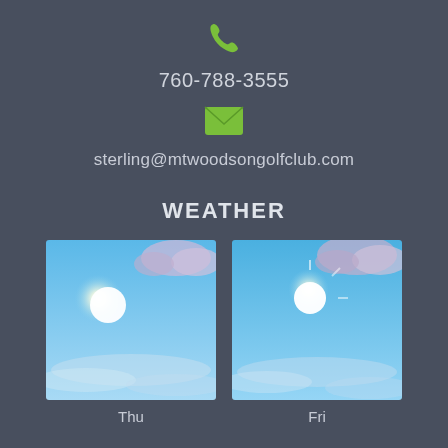[Figure (illustration): Green phone handset icon]
760-788-3555
[Figure (illustration): Green envelope/email icon]
sterling@mtwoodsongolfclub.com
WEATHER
[Figure (photo): Sunny sky with clouds weather icon for Thursday]
Thu
[Figure (photo): Sunny sky with clouds weather icon for Friday]
Fri